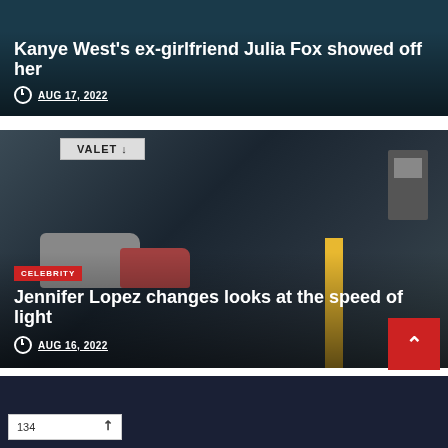[Figure (photo): Article card showing a person with dark background. Overlay text with headline and date.]
Kanye West's ex-girlfriend Julia Fox showed off her
AUG 17, 2022
[Figure (photo): Article card with valet parking garage background showing cars and people. Category badge: CELEBRITY.]
Jennifer Lopez changes looks at the speed of light
AUG 16, 2022
134